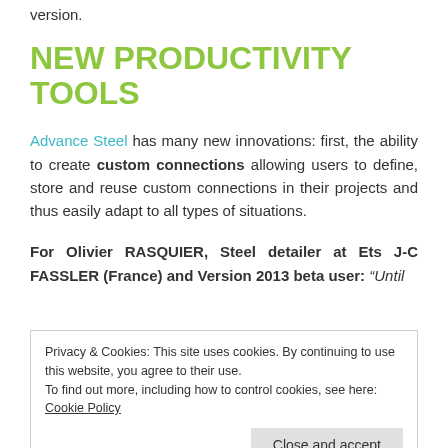version.
NEW PRODUCTIVITY TOOLS
Advance Steel has many new innovations: first, the ability to create custom connections allowing users to define, store and reuse custom connections in their projects and thus easily adapt to all types of situations.
For Olivier RASQUIER, Steel detailer at Ets J-C FASSLER (France) and Version 2013 beta user: “Until
Privacy & Cookies: This site uses cookies. By continuing to use this website, you agree to their use.
To find out more, including how to control cookies, see here: Cookie Policy
Close and accept